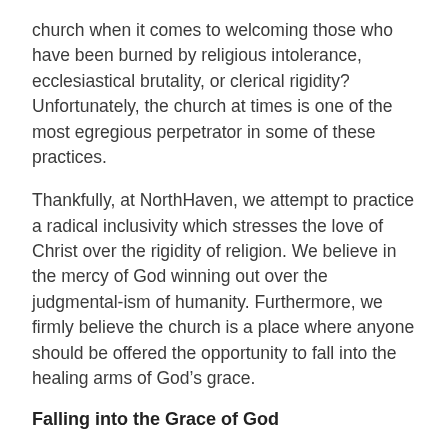church when it comes to welcoming those who have been burned by religious intolerance, ecclesiastical brutality, or clerical rigidity?  Unfortunately, the church at times is one of the most egregious perpetrator in some of these practices.
Thankfully, at NorthHaven, we attempt to practice a radical inclusivity which stresses the love of Christ over the rigidity of religion.  We believe in the mercy of God winning out over the judgmental-ism of humanity.  Furthermore, we firmly believe the church is a place where anyone should be offered the opportunity to fall into the healing arms of God's grace.
Falling into the Grace of God
This seems to me exactly what Jesus was trying to state in our text this morning.  “Come to me…take my